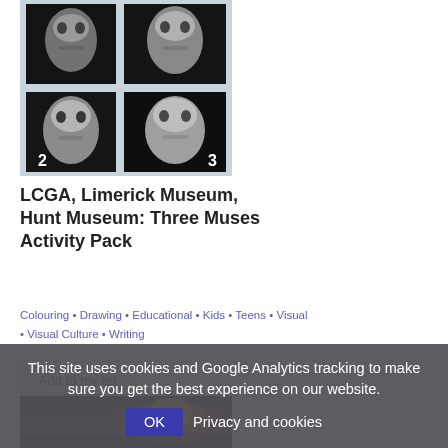[Figure (photo): 2x2 grid of black-and-white portrait photos showing children's faces, numbered 2 and 3 in bottom corners]
LCGA, Limerick Museum, Hunt Museum: Three Muses Activity Pack
Colouring • Drawing • Educational • Kids • Teens • Visual • Visual Culture • Writing
Add to my list
[Figure (photo): Sunset or sunrise over water with purple/dark sky and glowing light on horizon]